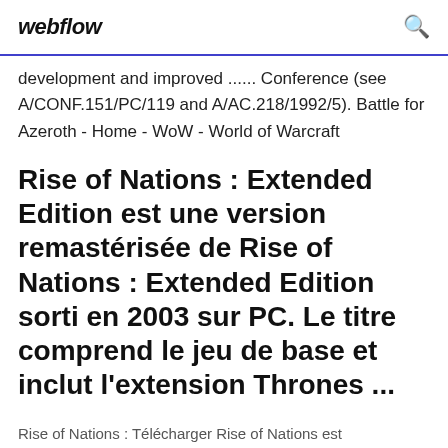webflow
development and improved ...... Conference (see A/CONF.151/PC/119 and A/AC.218/1992/5). Battle for Azeroth - Home - WoW - World of Warcraft
Rise of Nations : Extended Edition est une version remastérisée de Rise of Nations : Extended Edition sorti en 2003 sur PC. Le titre comprend le jeu de base et inclut l'extension Thrones ...
Rise of Nations : Télécharger Rise of Nations est